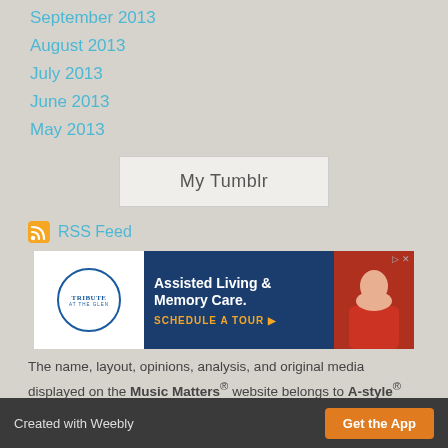September 2013
August 2013
July 2013
June 2013
May 2013
My Tumblr
RSS Feed
[Figure (other): Tribute at the Glen advertisement: Assisted Living & Memory Care. SCHEDULE A TOUR.]
The name, layout, opinions, analysis, and original media displayed on the Music Matters® website belongs to A-style® and are the intellectual property of Alexandra Swords. 2013©
Version:  Mobile | Web
Created with Weebly    Get the App